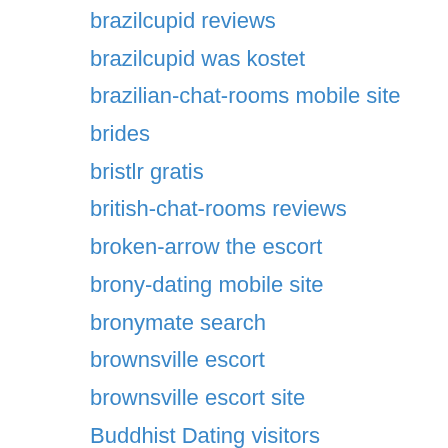brazilcupid reviews
brazilcupid was kostet
brazilian-chat-rooms mobile site
brides
bristlr gratis
british-chat-rooms reviews
broken-arrow the escort
brony-dating mobile site
bronymate search
brownsville escort
brownsville escort site
Buddhist Dating visitors
Buddhist Dating websites
buddygays web
buffalo eros escort